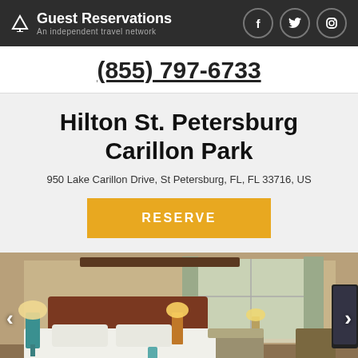Guest Reservations — An independent travel network
(855) 797-6733
Hilton St. Petersburg Carillon Park
950 Lake Carillon Drive, St Petersburg, FL, FL 33716, US
RESERVE
[Figure (photo): Hotel room interior with a large bed with white linens, warm lamp lighting, a seating area, curtained windows, and a flat-screen TV on the right side]